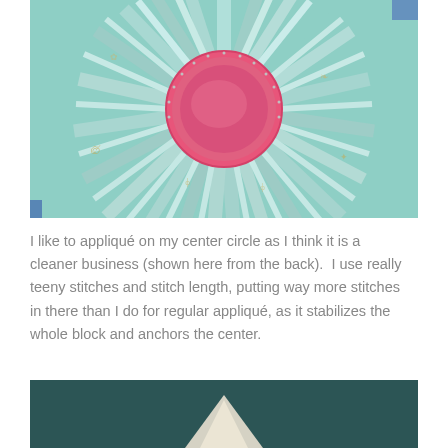[Figure (photo): Close-up photograph of the back of a fabric yo-yo or sunburst quilt block. A pink/magenta center circle is surrounded by teal/mint green fabric strips radiating outward like spokes. Stitching is visible around the center circle.]
I like to appliqué on my center circle as I think it is a cleaner business (shown here from the back).  I use really teeny stitches and stitch length, putting way more stitches in there than I do for regular appliqué, as it stabilizes the whole block and anchors the center.
[Figure (photo): Partial photograph showing a dark teal/green background with what appears to be a light-colored triangular fabric piece in the lower portion of the frame.]